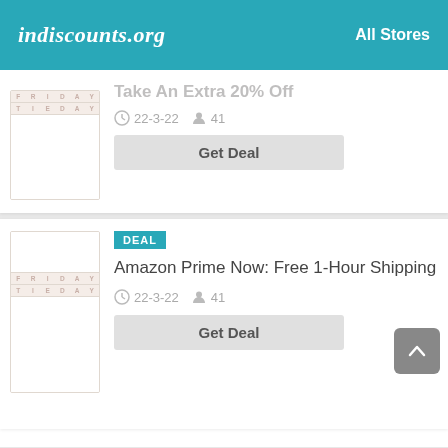indiscounts.org   All Stores
[Figure (screenshot): Friday/Tuesday calendar placeholder image for first deal card (partially visible, clipped at top)]
Take An Extra 20% Off (partially visible, clipped)
22-3-22   41
Get Deal
DEAL
[Figure (screenshot): Friday/Tuesday calendar placeholder image for second deal card]
Amazon Prime Now: Free 1-Hour Shipping
22-3-22   41
Get Deal